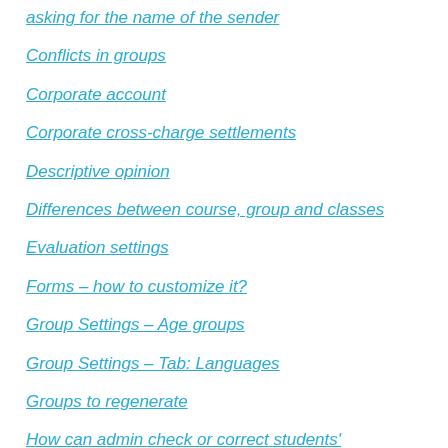asking for the name of the sender
Conflicts in groups
Corporate account
Corporate cross-charge settlements
Descriptive opinion
Differences between course, group and classes
Evaluation settings
Forms – how to customize it?
Group Settings – Age groups
Group Settings – Tab: Languages
Groups to regenerate
How can admin check or correct students' attendance without logging in to E-gradebook?
How can I check the number of cancelled classes?